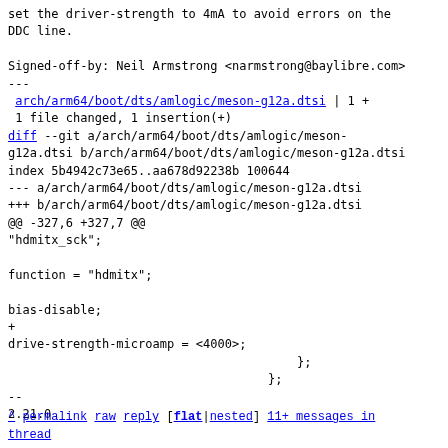set the driver-strength to 4mA to avoid errors on the DDC line.

Signed-off-by: Neil Armstrong <narmstrong@baylibre.com>
---
 arch/arm64/boot/dts/amlogic/meson-g12a.dtsi | 1 +
 1 file changed, 1 insertion(+)
diff --git a/arch/arm64/boot/dts/amlogic/meson-g12a.dtsi b/arch/arm64/boot/dts/amlogic/meson-g12a.dtsi
index 5b4942c73e65..aa678d92238b 100644
--- a/arch/arm64/boot/dts/amlogic/meson-g12a.dtsi
+++ b/arch/arm64/boot/dts/amlogic/meson-g12a.dtsi
@@ -327,6 +327,7 @@
"hdmitx_sck";

function = "hdmitx";

bias-disable;
+
drive-strength-microamp = <4000>;
                                };
                            };
--
2.21.0
^ permalink raw reply   [flat|nested] 11+ messages in thread